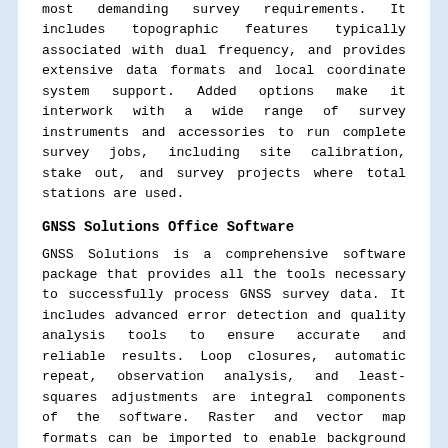most demanding survey requirements. It includes topographic features typically associated with dual frequency, and provides extensive data formats and local coordinate system support. Added options make it interwork with a wide range of survey instruments and accessories to run complete survey jobs, including site calibration, stake out, and survey projects where total stations are used.
GNSS Solutions Office Software
GNSS Solutions is a comprehensive software package that provides all the tools necessary to successfully process GNSS survey data. It includes advanced error detection and quality analysis tools to ensure accurate and reliable results. Loop closures, automatic repeat, observation analysis, and least-squares adjustments are integral components of the software. Raster and vector map formats can be imported to enable background maps to be combined with land survey projects and to prepare stake out missions in the office.